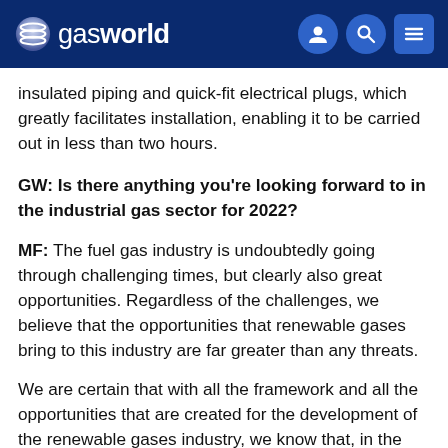gasworld
insulated piping and quick-fit electrical plugs, which greatly facilitates installation, enabling it to be carried out in less than two hours.
GW: Is there anything you're looking forward to in the industrial gas sector for 2022?
MF: The fuel gas industry is undoubtedly going through challenging times, but clearly also great opportunities. Regardless of the challenges, we believe that the opportunities that renewable gases bring to this industry are far greater than any threats.
We are certain that with all the framework and all the opportunities that are created for the development of the renewable gases industry, we know that, in the very near